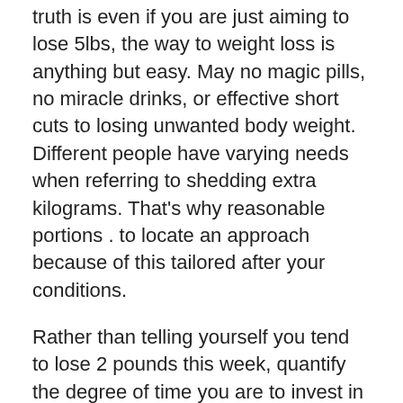truth is even if you are just aiming to lose 5lbs, the way to weight loss is anything but easy. May no magic pills, no miracle drinks, or effective short cuts to losing unwanted body weight. Different people have varying needs when referring to shedding extra kilograms. That's why reasonable portions . to locate an approach because of this tailored after your conditions.
Rather than telling yourself you tend to lose 2 pounds this week, quantify the degree of time you are to invest in exercise recently. Be specific down to the Min's.
Money — Eating well can cause some strain on the budget, (although long-term savings on health care) but you might also be involved with affording fresh clothes for whole lot body. It is actually difficult notice how many get done everything you've to to achieve, if you're still far inside the goal. Should you be short of